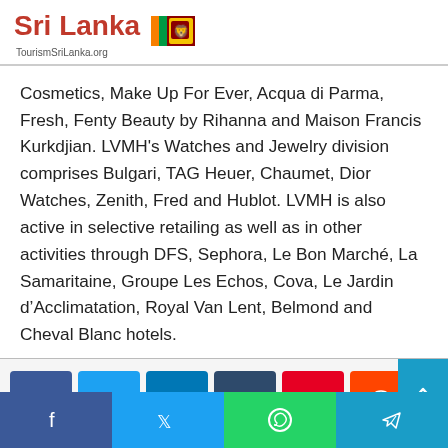Sri Lanka TourismSriLanka.org
Cosmetics, Make Up For Ever, Acqua di Parma, Fresh, Fenty Beauty by Rihanna and Maison Francis Kurkdjian. LVMH's Watches and Jewelry division comprises Bulgari, TAG Heuer, Chaumet, Dior Watches, Zenith, Fred and Hublot. LVMH is also active in selective retailing as well as in other activities through DFS, Sephora, Le Bon Marché, La Samaritaine, Groupe Les Echos, Cova, Le Jardin d'Acclimatation, Royal Van Lent, Belmond and Cheval Blanc hotels.
[Figure (infographic): Social share buttons: Facebook (blue), Twitter (light blue), LinkedIn (dark blue), Tumblr (dark navy), Pinterest (red), Reddit (orange-red), VK (steel blue), Email (dark gray), Print (dark gray). Below: mobile bottom bar with Facebook, Twitter, WhatsApp, Telegram icons.]